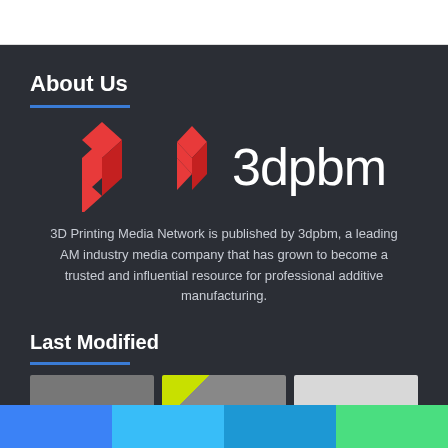About Us
[Figure (logo): 3dpbm logo: red diamond/rhombus shapes on left, white text '3dpbm' on right, on dark background]
3D Printing Media Network is published by 3dpbm, a leading AM industry media company that has grown to become a trusted and influential resource for professional additive manufacturing.
Last Modified
[Figure (photo): Three thumbnail images partially visible at bottom of dark section]